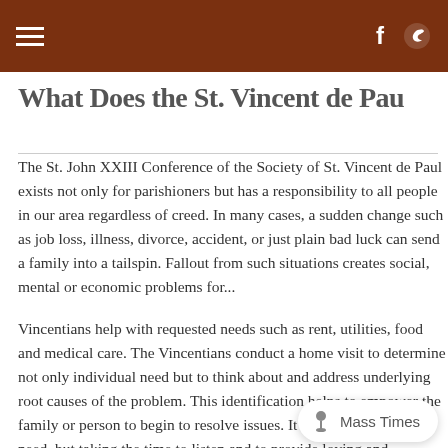What Does the St. Vincent de Pau...
The St. John XXIII Conference of the Society of St. Vincent de Paul exists not only for parishioners but has a responsibility to all people in our area regardless of creed. In many cases, a sudden change such as job loss, illness, divorce, accident, or just plain bad luck can send a family into a tailspin. Fallout from such situations creates social, mental or economic problems for...
Vincentians help with requested needs such as rent, utilities, food and medical care. The Vincentians conduct a home visit to determine not only individual need but to think about and address underlying root causes of the problem. This identification helps to empower the family or person to begin to resolve issues. It is not only seeing the need, but taking the time to listen and to provide loving and compassionate interest in the whole person. This continues the work of our patron, St. Vincent, a Fr... who founded the Daughters of Cha... po...
The Vincentions maintain strict confidentiality. A...